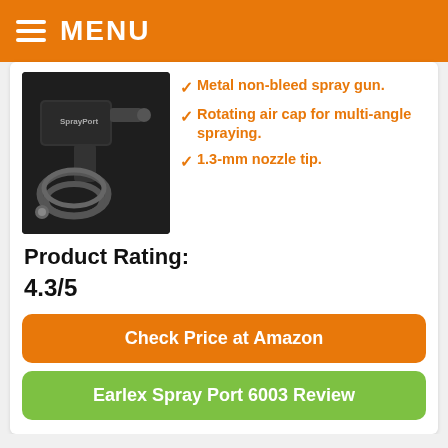MENU
[Figure (photo): Earlex Spray Port 6003 spray gun product photo on dark background, showing the device with a coiled hose attachment]
Metal non-bleed spray gun.
Rotating air cap for multi-angle spraying.
1.3-mm nozzle tip.
Product Rating:
4.3/5
Check Price at Amazon
Earlex Spray Port 6003 Review